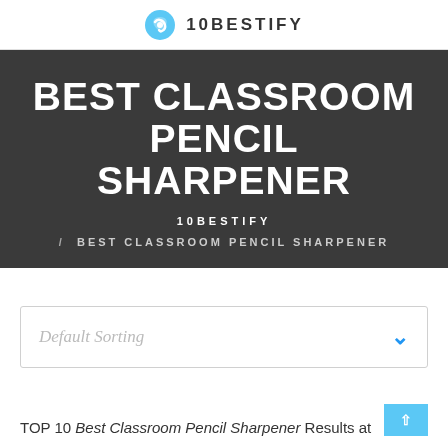10BESTIFY
BEST CLASSROOM PENCIL SHARPENER
10BESTIFY
/ BEST CLASSROOM PENCIL SHARPENER
Default Sorting
TOP 10 Best Classroom Pencil Sharpener Results at